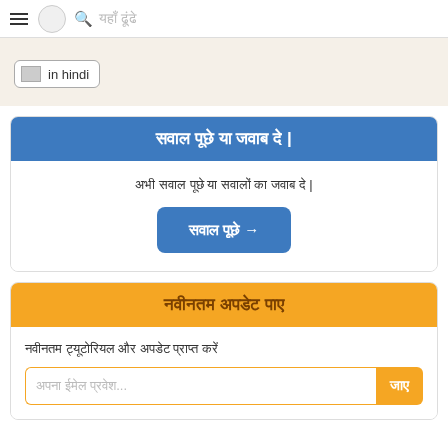यहाँ ढूंढे
[Figure (screenshot): Language badge with 'in hindi' text and small image icon]
सवाल पूछे या जवाब दे |
अभी सवाल पूछे या सवालों का जवाब दे |
सवाल पूछे →
नवीनतम अपडेट पाए
नवीनतम ट्यूटोरियल और अपडेट प्राप्त करें
अपना ईमेल प्रवेश